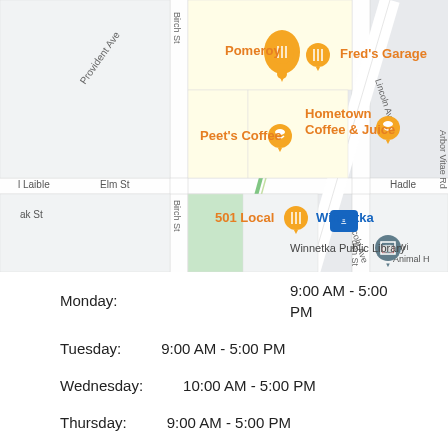[Figure (map): Street map of Winnetka area showing pins for Pomeroy, Fred's Garage, Peet's Coffee, Hometown Coffee & Juice, 501 Local, Winnetka (train station), and Winnetka Public Library. Streets visible include Provident Ave, Birch St, Lincoln Ave, Arbor Vitae Rd, Elm St, Oak St. Green diagonal rail line visible.]
| Day | Hours |
| --- | --- |
| Monday: | 9:00 AM - 5:00 PM |
| Tuesday: | 9:00 AM - 5:00 PM |
| Wednesday: | 10:00 AM - 5:00 PM |
| Thursday: | 9:00 AM - 5:00 PM |
| Friday: | 8:00 AM - 4:00 PM |
| Saturday: | 9:00 AM - 3:00 PM |